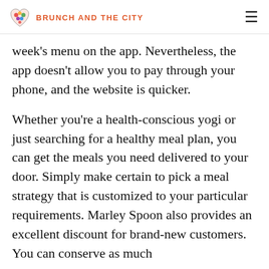BRUNCH AND THE CITY
week's menu on the app. Nevertheless, the app doesn't allow you to pay through your phone, and the website is quicker.
Whether you're a health-conscious yogi or just searching for a healthy meal plan, you can get the meals you need delivered to your door. Simply make certain to pick a meal strategy that is customized to your particular requirements. Marley Spoon also provides an excellent discount for brand-new customers. You can conserve as much as 60%...